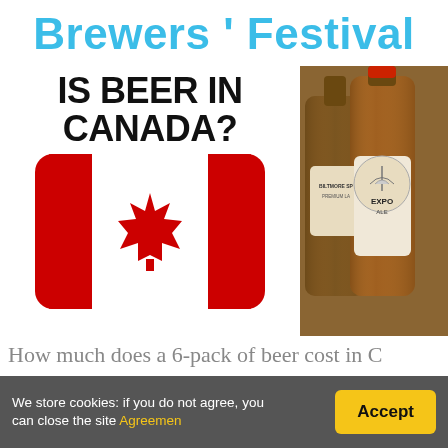Brewers ' Festival
[Figure (illustration): Collage of two images side by side: left side shows bold text 'IS BEER IN CANADA?' above a Canadian flag with red maple leaf on white and red background with rounded corners; right side shows brown beer bottles with labels including 'Export Ale' and partial text on a warm brown background.]
How much does a 6-pack of beer cost in C
We store cookies: if you do not agree, you can close the site Agreemen
Accept